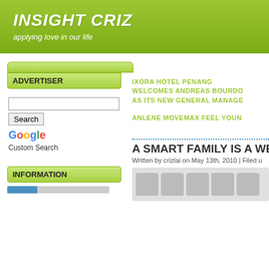INSIGHT CRIZ
applying love in our life
ADVERTISER
[Figure (other): Google Custom Search box with Search button, Google logo, and Custom Search text]
IXORA HOTEL PENANG WELCOMES ANDREAS BOURDO AS ITS NEW GENERAL MANAGE
ANLENE MOVEMAX FEEL YOUN
A SMART FAMILY IS A WE
Written by crizlai on May 13th, 2010 | Filed u
INFORMATION
[Figure (other): Row of social media or sharing icons in gray]